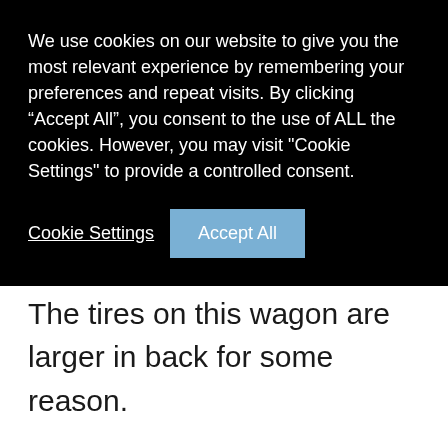We use cookies on our website to give you the most relevant experience by remembering your preferences and repeat visits. By clicking “Accept All”, you consent to the use of ALL the cookies. However, you may visit "Cookie Settings" to provide a controlled consent.
Cookie Settings  Accept All
whip that seems scary itself. The tires on this wagon are larger in back for some reason.